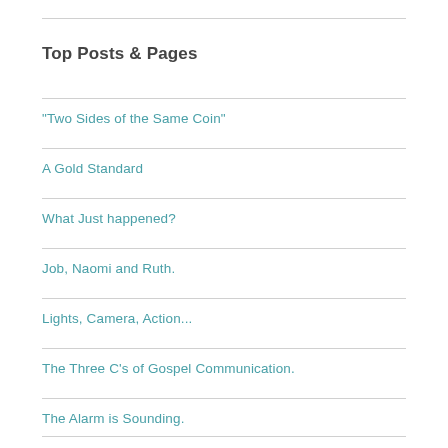Top Posts & Pages
"Two Sides of the Same Coin"
A Gold Standard
What Just happened?
Job, Naomi and Ruth.
Lights, Camera, Action...
The Three C's of Gospel Communication.
The Alarm is Sounding.
The Mechanic